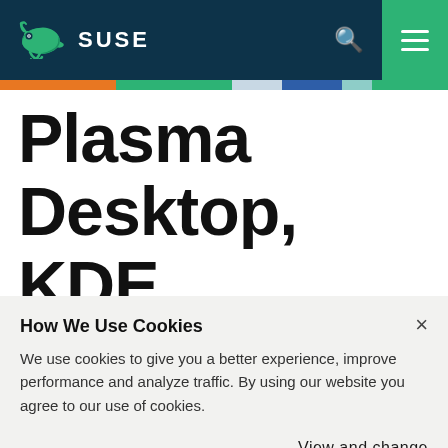SUSE
Plasma Desktop, KDE Frameworks 5
How We Use Cookies
We use cookies to give you a better experience, improve performance and analyze traffic. By using our website you agree to our use of cookies.
View and change cookie preferences ›